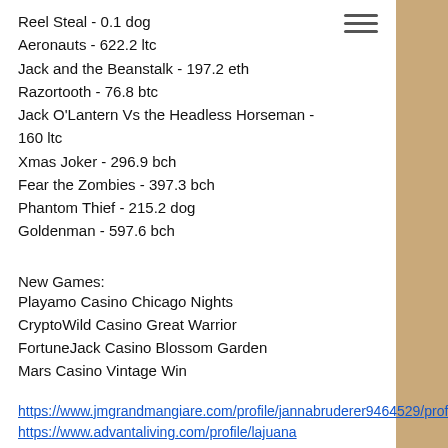Reel Steal - 0.1 dog
Aeronauts - 622.2 ltc
Jack and the Beanstalk - 197.2 eth
Razortooth - 76.8 btc
Jack O'Lantern Vs the Headless Horseman - 160 ltc
Xmas Joker - 296.9 bch
Fear the Zombies - 397.3 bch
Phantom Thief - 215.2 dog
Goldenman - 597.6 bch
New Games:
Playamo Casino Chicago Nights
CryptoWild Casino Great Warrior
FortuneJack Casino Blossom Garden
Mars Casino Vintage Win
https://www.jmgrandmangiare.com/profile/jannabruderer9464529/profile
https://www.advantaliving.com/profile/lajuana